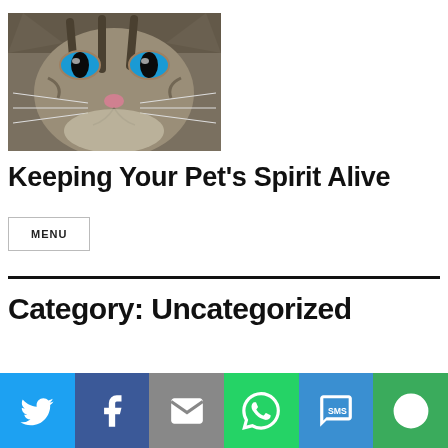[Figure (photo): Close-up photo of a tabby cat with striking blue eyes, gray and brown striped fur, pink nose, and white whiskers.]
Keeping Your Pet's Spirit Alive
MENU
Category: Uncategorized
[Figure (infographic): Social sharing bar with Twitter, Facebook, Email, WhatsApp, SMS, and More buttons.]